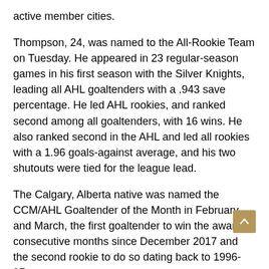active member cities.
Thompson, 24, was named to the All-Rookie Team on Tuesday. He appeared in 23 regular-season games in his first season with the Silver Knights, leading all AHL goaltenders with a .943 save percentage. He led AHL rookies, and ranked second among all goaltenders, with 16 wins. He also ranked second in the AHL and led all rookies with a 1.96 goals-against average, and his two shutouts were tied for the league lead.
The Calgary, Alberta native was named the CCM/AHL Goaltender of the Month in February and March, the first goaltender to win the award in consecutive months since December 2017 and the second rookie to do so dating back to 1996-97.
Murphy, 28, is in his eighth full professional season and his first with the Silver Knights. The Aurora, Ontario native led all AHL defensemen with 22 assists and 27 points, as well as 13 power play assists. A first-round pick of the Carolina Hurricanes in 2011, Murphy posted the second-best points